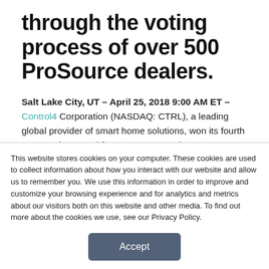through the voting process of over 500 ProSource dealers.
Salt Lake City, UT – April 25, 2018 9:00 AM ET – Control4 Corporation (NASDAQ: CTRL), a leading global provider of smart home solutions, won its fourth consecutive award from ProSource at its
This website stores cookies on your computer. These cookies are used to collect information about how you interact with our website and allow us to remember you. We use this information in order to improve and customize your browsing experience and for analytics and metrics about our visitors both on this website and other media. To find out more about the cookies we use, see our Privacy Policy.
Accept